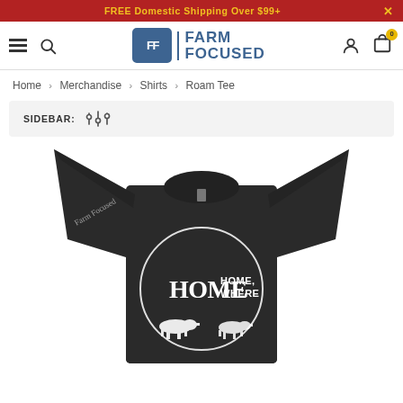FREE Domestic Shipping Over $99+
[Figure (logo): Farm Focused logo with FF badge and text]
Home › Merchandise › Shirts › Roam Tee
SIDEBAR:
[Figure (photo): Dark gray t-shirt with white 'Home Home, Where' text and cattle graphic design]